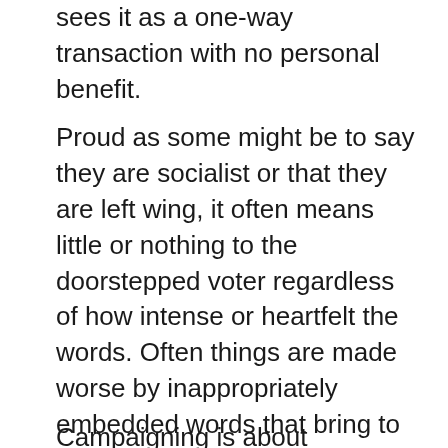sees it as a one-way transaction with no personal benefit.
Proud as some might be to say they are socialist or that they are left wing, it often means little or nothing to the doorstepped voter regardless of how intense or heartfelt the words. Often things are made worse by inappropriately embedded words that bring to mind the Soviets or communist China to those who have, to their better fortune, never sat through a two-hour meeting of "comrades" and "solidarities." No matter how much promise and glitter surround those policies, it is all lost to the impression that you sound dated and pointless.
Campaigning is about elections, it is...